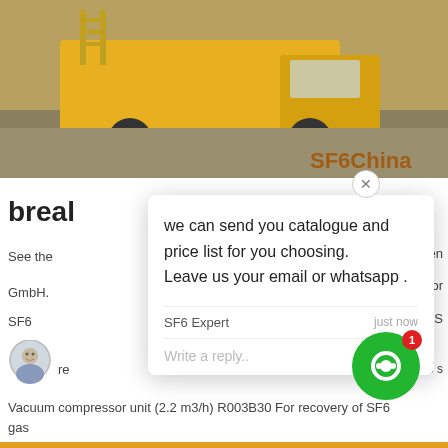[Figure (photo): Yellow truck/vehicle on road with SF6China watermark overlay]
breal
See the ... Anlagen GmbH. ... ortable for SF6 gas ... ni S... 5 s...
we can send you catalogue and price list for you choosing. Leave us your email or whatsapp .
SF6 Expert    just now
Write a reply..
Vacuum compressor unit (2.2 m3/h) R003B30 For recovery of SF6 gas
Get Price
Leave Message
Chat Online